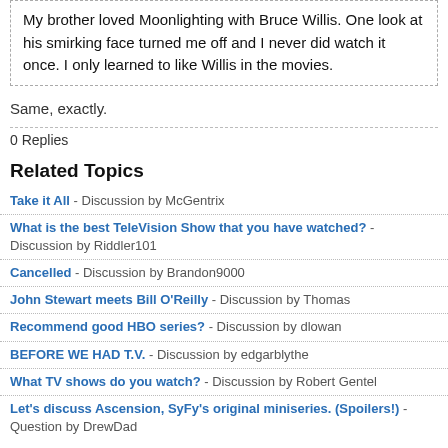My brother loved Moonlighting with Bruce Willis. One look at his smirking face turned me off and I never did watch it once. I only learned to like Willis in the movies.
Same, exactly.
0 Replies
Related Topics
Take it All - Discussion by McGentrix
What is the best TeleVision Show that you have watched? - Discussion by Riddler101
Cancelled - Discussion by Brandon9000
John Stewart meets Bill O'Reilly - Discussion by Thomas
Recommend good HBO series? - Discussion by dlowan
BEFORE WE HAD T.V. - Discussion by edgarblythe
What TV shows do you watch? - Discussion by Robert Gentel
Let's discuss Ascension, SyFy's original miniseries. (Spoilers!) - Question by DrewDad